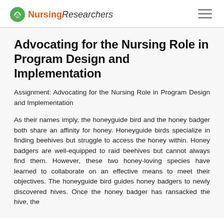NursingResearchers
Advocating for the Nursing Role in Program Design and Implementation
Assignment: Advocating for the Nursing Role in Program Design and Implementation
As their names imply, the honeyguide bird and the honey badger both share an affinity for honey. Honeyguide birds specialize in finding beehives but struggle to access the honey within. Honey badgers are well-equipped to raid beehives but cannot always find them. However, these two honey-loving species have learned to collaborate on an effective means to meet their objectives. The honeyguide bird guides honey badgers to newly discovered hives. Once the honey badger has ransacked the hive, the